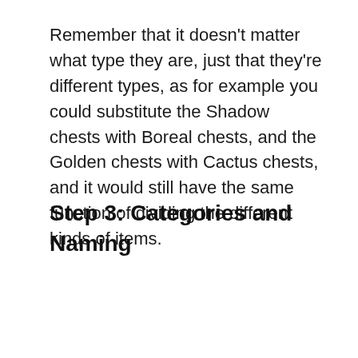Remember that it doesn't matter what type they are, just that they're different types, as for example you could substitute the Shadow chests with Boreal chests, and the Golden chests with Cactus chests, and it would still have the same function of dividing the different kinds of items.
Step 3: Categories and Naming